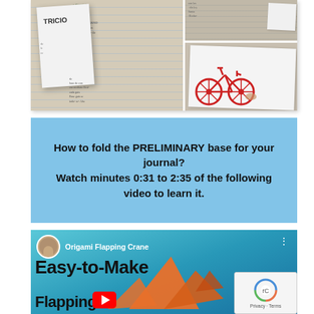[Figure (photo): Photo collage showing origami/paper folding work on notebook paper with handwritten notes, and a red toy bicycle on folded paper]
How to fold the PRELIMINARY base for your journal? Watch minutes 0:31 to 2:35 of the following video to learn it.
[Figure (screenshot): YouTube video thumbnail for 'Origami Flapping Crane' showing text 'Easy-to-Make Flapping' with orange origami crane shapes and a reCAPTCHA widget overlay]